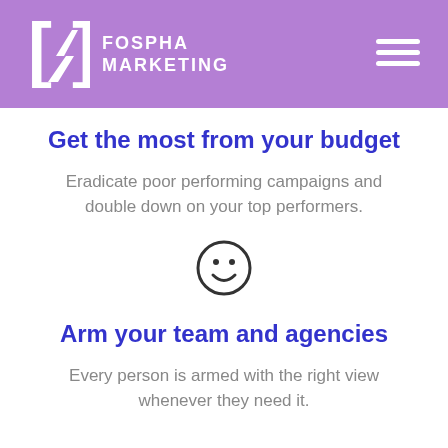FOSPHA MARKETING
Get the most from your budget
Eradicate poor performing campaigns and double down on your top performers.
[Figure (illustration): Smiley face icon — circle outline with two dot eyes and a curved smile]
Arm your team and agencies
Every person is armed with the right view whenever they need it.